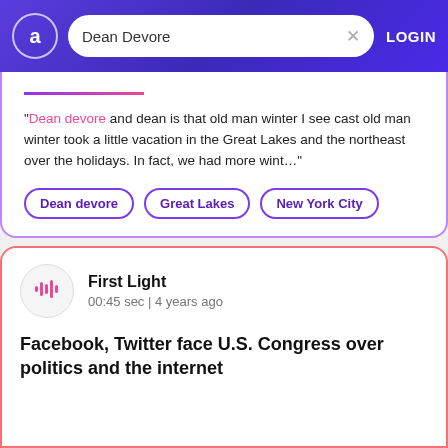Dean Devore — LOGIN
"Dean devore and dean is that old man winter I see cast old man winter took a little vacation in the Great Lakes and the northeast over the holidays. In fact, we had more wint...
Dean devore
Great Lakes
New York City
First Light
00:45 sec | 4 years ago
Facebook, Twitter face U.S. Congress over politics and the internet